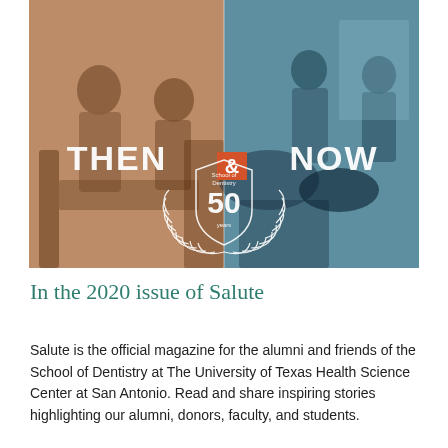[Figure (photo): Split image: left side is a sepia-toned vintage photo of dental students working in a clinic; right side is a modern color photo of dental professionals in PPE treating a patient. Overlaid text reads 'THEN & NOW' with a 50th anniversary badge for School of Dentistry.]
In the 2020 issue of Salute
Salute is the official magazine for the alumni and friends of the School of Dentistry at The University of Texas Health Science Center at San Antonio. Read and share inspiring stories highlighting our alumni, donors, faculty, and students.